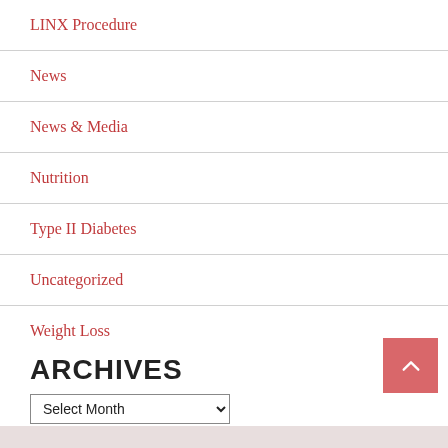LINX Procedure
News
News & Media
Nutrition
Type II Diabetes
Uncategorized
Weight Loss
ARCHIVES
Select Month